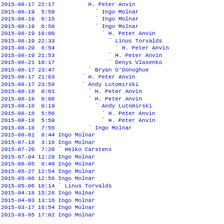2015-08-17 22:17          H. Peter Anvin
2015-08-19  5:59            ` Ingo Molnar
2015-08-19  6:15            ` Ingo Molnar
2015-08-19  6:50            ` Ingo Molnar
2015-08-19 10:00              ` H. Peter Anvin
2015-08-19 22:33                ` Linus Torvalds
2015-08-20  6:54                  ` H. Peter Anvin
2015-08-19 21:53                ` H. Peter Anvin
2015-08-21 10:17                ` Denys Vlasenko
2015-08-17 23:47          ` Bryan O'Donoghue
2015-08-17 21:03        ` H. Peter Anvin
2015-08-17 23:59        ` Andy Lutomirski
2015-08-18  0:01          ` H. Peter Anvin
2015-08-18  0:06          ` H. Peter Anvin
2015-08-18  0:19            ` Andy Lutomirski
2015-08-18  5:56              ` H. Peter Anvin
2015-08-18  5:59              ` H. Peter Anvin
2015-08-18  7:55          ` Ingo Molnar
2015-08-01  8:44 Ingo Molnar
2015-07-18  3:18 Ingo Molnar
2015-07-20  7:20 ` Heiko Carstens
2015-07-04 11:29 Ingo Molnar
2015-06-05  8:40 Ingo Molnar
2015-05-27 12:54 Ingo Molnar
2015-05-06 12:58 Ingo Molnar
2015-05-06 18:14 ` Linus Torvalds
2015-04-18 15:26 Ingo Molnar
2015-04-03 13:16 Ingo Molnar
2015-03-17 16:54 Ingo Molnar
2015-03-05 17:02 Ingo Molnar